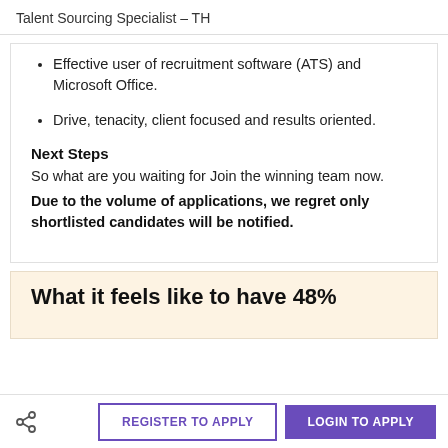Talent Sourcing Specialist – TH
Effective user of recruitment software (ATS) and Microsoft Office.
Drive, tenacity, client focused and results oriented.
Next Steps
So what are you waiting for Join the winning team now. Due to the volume of applications, we regret only shortlisted candidates will be notified.
What it feels like to have 48%
REGISTER TO APPLY
LOGIN TO APPLY